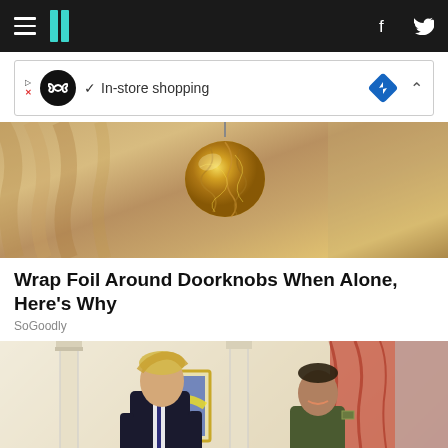HuffPost UK (hamburger menu, logo, social icons)
[Figure (screenshot): Ad banner: infinity loop icon, checkmark, In-store shopping text, blue diamond navigation icon, chevron up]
[Figure (photo): Close-up photo of a gold/silver crinkled foil ball hanging like a chandelier ornament against warm tan/beige draped fabric background]
Wrap Foil Around Doorknobs When Alone, Here's Why
SoGoodly
[Figure (photo): Photo of two men standing together in an ornate official room with white columns and red curtains. One man in dark suit (Boris Johnson-like figure) and another in olive green military t-shirt (Zelensky-like figure), both appear to be talking and smiling.]